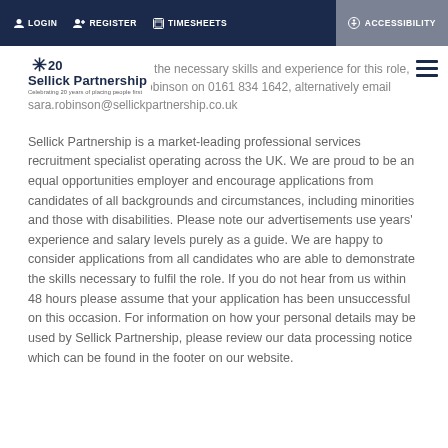LOGIN   REGISTER   TIMESHEETS   ACCESSIBILITY
[Figure (logo): Sellick Partnership logo with star and '20' anniversary mark, with tagline 'Celebrating 20 years of placing people first']
If you believe you have the necessary skills and experience for this role, please contact Sara Robinson on 0161 834 1642, alternatively email sara.robinson@sellickpartnership.co.uk
Sellick Partnership is a market-leading professional services recruitment specialist operating across the UK. We are proud to be an equal opportunities employer and encourage applications from candidates of all backgrounds and circumstances, including minorities and those with disabilities. Please note our advertisements use years' experience and salary levels purely as a guide. We are happy to consider applications from all candidates who are able to demonstrate the skills necessary to fulfil the role. If you do not hear from us within 48 hours please assume that your application has been unsuccessful on this occasion. For information on how your personal details may be used by Sellick Partnership, please review our data processing notice which can be found in the footer on our website.